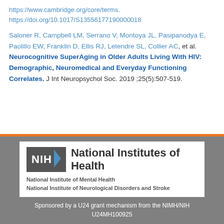https://www.cambridge.org/core/terms. https://doi.org/10.1017/S13556177190000018
Saloner R, Campbell LM, Serrano V, Montoya JL, Pasipanodya E, Paolillo EW, Franklin D, Ellis RJ, Letendre SL, Collier AC, et al. Neurocognitive SuperAging in Older Adults Living With HIV: Demographic, Neuromedical and Everyday Functioning Correlates. J Int Neuropsychol Soc. 2019 ;25(5):507-519.
[Figure (logo): NIH National Institutes of Health logo with National Institute of Mental Health and National Institute of Neurological Disorders and Stroke listed below]
Sponsored by a U24 grant mechanism from the NIMH/NIH U24MH100925